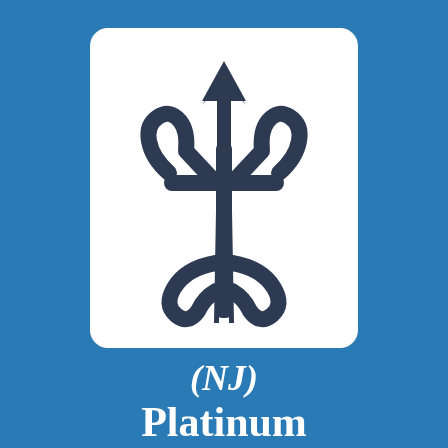[Figure (logo): Trident symbol (poseidon/neptune fork) in dark navy blue on white rounded square background, representing an insurance or financial services brand logo]
(NJ) Platinum